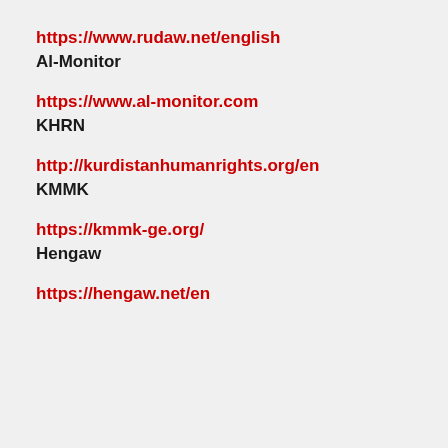https://www.rudaw.net/english
Al-Monitor
https://www.al-monitor.com
KHRN
http://kurdistanhumanrights.org/en
KMMK
https://kmmk-ge.org/
Hengaw
https://hengaw.net/en